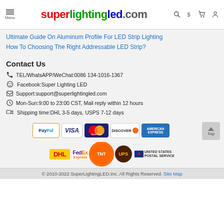superlightingled.com
Ultimate Guide On Aluminum Profile For LED Strip Lighting
How To Choosing The Right Addressable LED Strip?
Contact Us
TEL/WhatsAPP/WeChat:0086 134-1016-1367
Facebook:Super Lighting LED
Support:support@superlightingled.com
Mon-Sun:9:00 to 23:00 CST, Mail reply within 12 hours
Shipping time:DHL 3-5 days, USPS 7-12 days
[Figure (logo): Payment method logos: PayPal, VISA, MasterCard, Discover, American Express]
[Figure (logo): Shipping carrier logos: DHL, FedEx Express, TNT, UPS, United States Postal Service]
© 2010-2022 SuperLightingLED.Inc. All Rights Reserved. Site Map